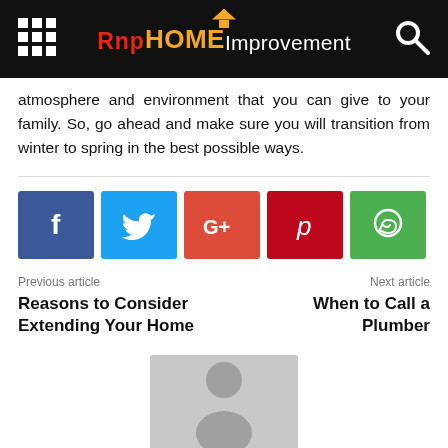Rnp HOME Improvement
atmosphere and environment that you can give to your family. So, go ahead and make sure you will transition from winter to spring in the best possible ways.
[Figure (infographic): Social share buttons: Facebook (blue), Twitter (light blue), Google+ (red-orange), Pinterest (dark red), WhatsApp (green)]
Previous article
Reasons to Consider Extending Your Home
Next article
When to Call a Plumber
[Figure (photo): Generic grey avatar/user placeholder image with silhouette of person]